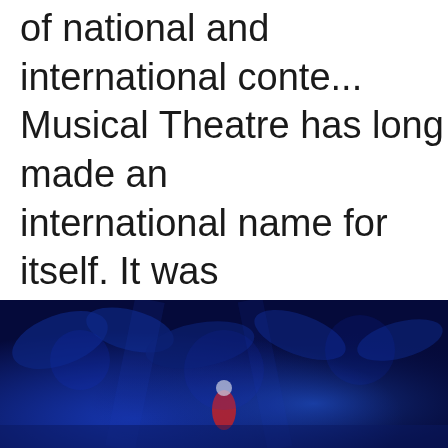of national and international conte... Musical Theatre has long made an international name for itself. It was enthusiastically applauded in Japan, Hungary, Portugal, Yugoslavia, La... Greece, Italy, Finland.
[Figure (photo): A theatrical stage performance photo with blue lighting showing performers/dancers on stage with dramatic blue-lit background, possibly a musical theatre production.]